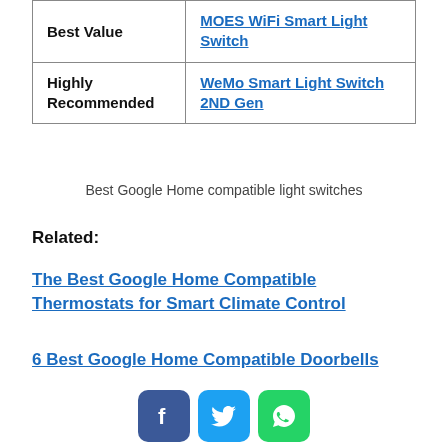|  |  |
| --- | --- |
| Best Value | MOES WiFi Smart Light Switch |
| Highly Recommended | WeMo Smart Light Switch 2ND Gen |
Best Google Home compatible light switches
Related:
The Best Google Home Compatible Thermostats for Smart Climate Control
6 Best Google Home Compatible Doorbells
[Figure (other): Social share buttons: Facebook (blue), Twitter (light blue), WhatsApp (green)]